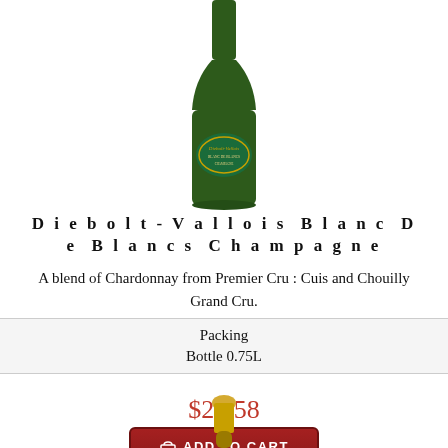[Figure (photo): Top portion of a dark green champagne bottle with gold label reading 'Diebolt-Vallois', cropped at top of page]
Diebolt-Vallois Blanc De Blancs Champagne
A blend of Chardonnay from Premier Cru : Cuis and Chouilly Grand Cru.
| Packing |
| --- |
| Bottle 0.75L |
$28.58
ADD TO CART
[Figure (photo): Top portion of a second champagne bottle visible at bottom of page, showing gold foil cap]